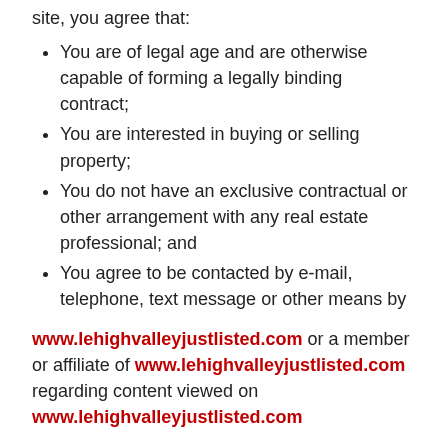site, you agree that:
You are of legal age and are otherwise capable of forming a legally binding contract;
You are interested in buying or selling property;
You do not have an exclusive contractual or other arrangement with any real estate professional; and
You agree to be contacted by e-mail, telephone, text message or other means by
www.lehighvalleyjustlisted.com or a member or affiliate of www.lehighvalleyjustlisted.com regarding content viewed on www.lehighvalleyjustlisted.com
Links to Other Sites
From time to time, www.lehighvalleyjustlisted.com may include on